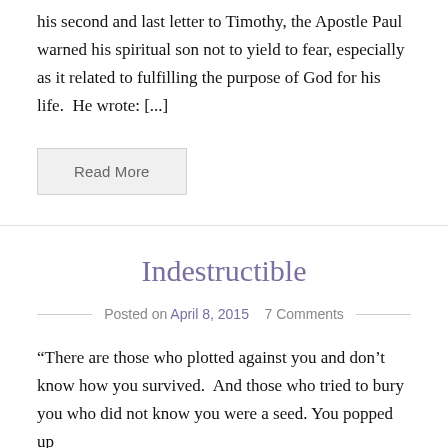his second and last letter to Timothy, the Apostle Paul warned his spiritual son not to yield to fear, especially as it related to fulfilling the purpose of God for his life.  He wrote: [...]
Read More
Indestructible
Posted on April 8, 2015   7 Comments
“There are those who plotted against you and don’t know how you survived.  And those who tried to bury you who did not know you were a seed. You popped up